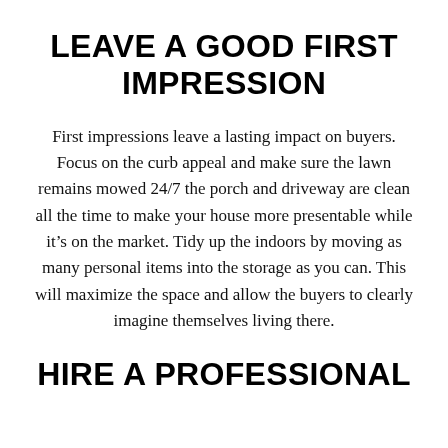LEAVE A GOOD FIRST IMPRESSION
First impressions leave a lasting impact on buyers. Focus on the curb appeal and make sure the lawn remains mowed 24/7 the porch and driveway are clean all the time to make your house more presentable while it's on the market. Tidy up the indoors by moving as many personal items into the storage as you can. This will maximize the space and allow the buyers to clearly imagine themselves living there.
HIRE A PROFESSIONAL